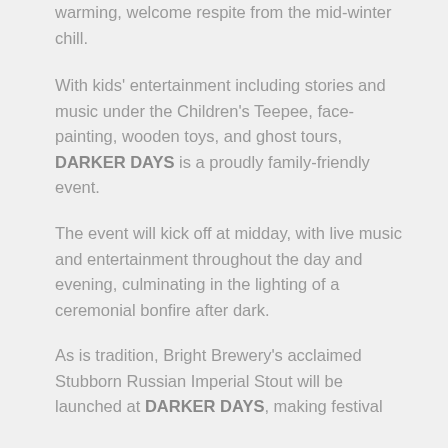warming, welcome respite from the mid-winter chill.
With kids' entertainment including stories and music under the Children's Teepee, face-painting, wooden toys, and ghost tours, DARKER DAYS is a proudly family-friendly event.
The event will kick off at midday, with live music and entertainment throughout the day and evening, culminating in the lighting of a ceremonial bonfire after dark.
As is tradition, Bright Brewery's acclaimed Stubborn Russian Imperial Stout will be launched at DARKER DAYS, making festival